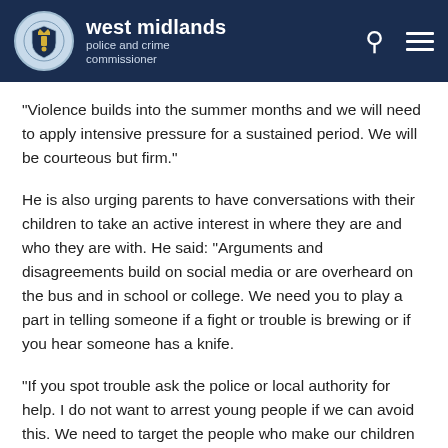west midlands police and crime commissioner
“Violence builds into the summer months and we will need to apply intensive pressure for a sustained period. We will be courteous but firm.”
He is also urging parents to have conversations with their children to take an active interest in where they are and who they are with. He said: “Arguments and disagreements build on social media or are overheard on the bus and in school or college. We need you to play a part in telling someone if a fight or trouble is brewing or if you hear someone has a knife.
“If you spot trouble ask the police or local authority for help. I do not want to arrest young people if we can avoid this. We need to target the people who make our children feel unsafe. You have to be part of the solution to this problem.”
Longer term the force is building on the work already done with